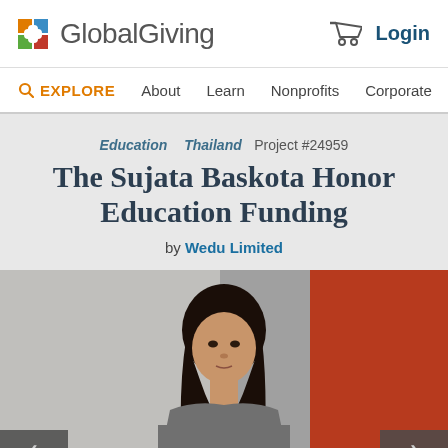GlobalGiving
EXPLORE   About   Learn   Nonprofits   Corporate
Education   Thailand   Project #24959
The Sujata Baskota Honor Education Funding
by Wedu Limited
[Figure (photo): A young South Asian woman with long black hair, seated, looking slightly downward, against a background with a red/orange wall and grey wall. Navigation arrows (< and >) are visible at the bottom left and right corners of the image.]